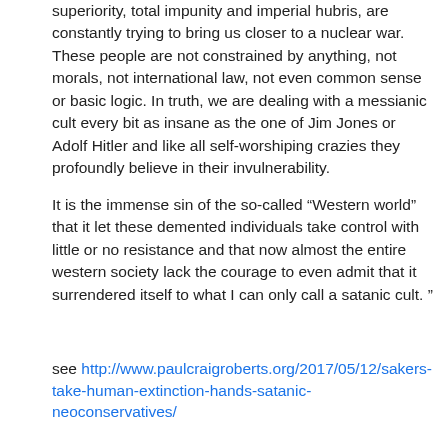superiority, total impunity and imperial hubris, are constantly trying to bring us closer to a nuclear war. These people are not constrained by anything, not morals, not international law, not even common sense or basic logic. In truth, we are dealing with a messianic cult every bit as insane as the one of Jim Jones or Adolf Hitler and like all self-worshiping crazies they profoundly believe in their invulnerability.
It is the immense sin of the so-called “Western world” that it let these demented individuals take control with little or no resistance and that now almost the entire western society lack the courage to even admit that it surrendered itself to what I can only call a satanic cult. ”
see http://www.paulcraigroberts.org/2017/05/12/sakers-take-human-extinction-hands-satanic-neoconservatives/
Joe  10/08/2017  Reply
Mr. Greg,
There is no doubt the New World Order is evil so